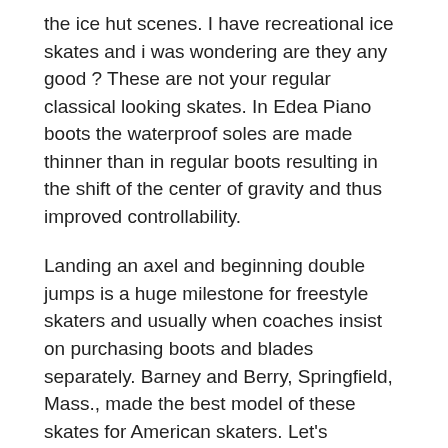the ice hut scenes. I have recreational ice skates and i was wondering are they any good ? These are not your regular classical looking skates. In Edea Piano boots the waterproof soles are made thinner than in regular boots resulting in the shift of the center of gravity and thus improved controllability.
Landing an axel and beginning double jumps is a huge milestone for freestyle skaters and usually when coaches insist on purchasing boots and blades separately. Barney and Berry, Springfield, Mass., made the best model of these skates for American skaters. Let's breakdown the typical pricing for skates so you can get an idea of what kind of quality and value you get for what pricing. They can be ordered the same day and shipped directly to a home or business. The combination of Newington's commitment to open space together with its pleasant neighborhoods strategically located to major metropolitan centers